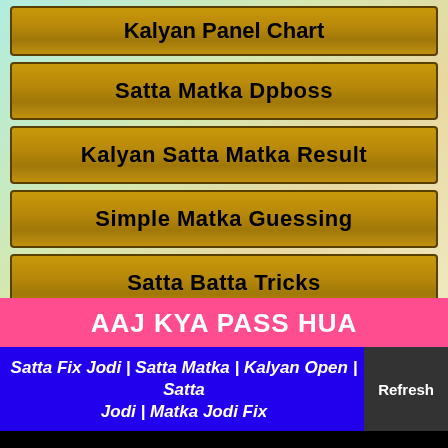Kalyan Panel Chart
Satta Matka Dpboss
Kalyan Satta Matka Result
Simple Matka Guessing
Satta Batta Tricks
AAJ KYA PASS HUA
Satta Fix Jodi | Satta Matka | Kalyan Open | Satta Jodi | Matka Jodi Fix
Date : 03-09-2022 Saturday Ko